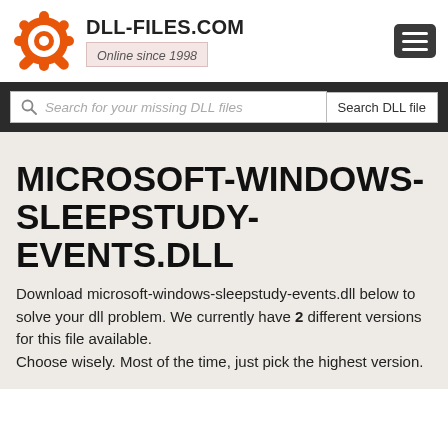[Figure (logo): DLL-Files.com orange gear/lifesaver logo icon]
DLL-FILES.COM
Online since 1998
Search for your missing DLL files
MICROSOFT-WINDOWS-SLEEPSTUDY-EVENTS.DLL
Download microsoft-windows-sleepstudy-events.dll below to solve your dll problem. We currently have 2 different versions for this file available.
Choose wisely. Most of the time, just pick the highest version.